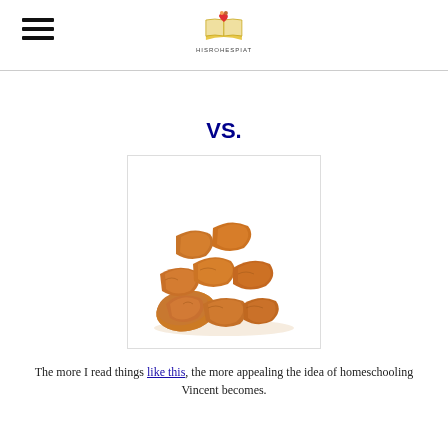HISROHESPIAT (logo)
VS.
[Figure (photo): A pile of golden-brown breaded chicken nuggets on a white background.]
The more I read things like this, the more appealing the idea of homeschooling Vincent becomes.